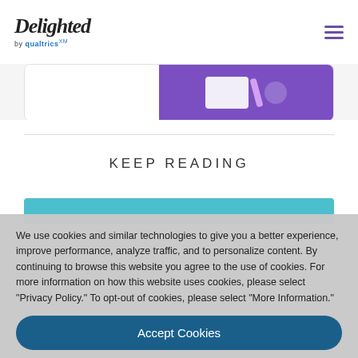Delighted by Qualtrics XM
[Figure (screenshot): Partial screenshot of a device mockup showing a purple interface with tablets/illustrations on a light gray background with rounded corners]
KEEP READING
[Figure (screenshot): Teal/cyan colored card header partially visible]
We use cookies and similar technologies to give you a better experience, improve performance, analyze traffic, and to personalize content. By continuing to browse this website you agree to the use of cookies. For more information on how this website uses cookies, please select "Privacy Policy." To opt-out of cookies, please select "More Information."
Accept Cookies
More Information